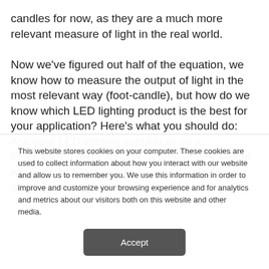candles for now, as they are a much more relevant measure of light in the real world.

Now we've figured out half of the equation, we know how to measure the output of light in the most relevant way (foot-candle), but how do we know which LED lighting product is the best for your application? Here's what you should do: Ask your LED lighting supplier to do a PHOTOMETRIC LAYOUT. A photometric layout will show the foot-candle levels specific to your site, accounting for
This website stores cookies on your computer. These cookies are used to collect information about how you interact with our website and allow us to remember you. We use this information in order to improve and customize your browsing experience and for analytics and metrics about our visitors both on this website and other media.
Accept